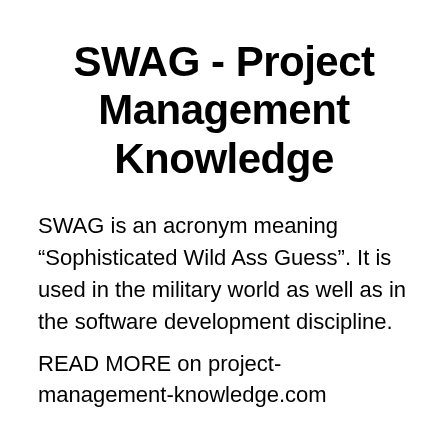SWAG - Project Management Knowledge
SWAG is an acronym meaning “Sophisticated Wild Ass Guess”. It is used in the military world as well as in the software development discipline.
READ MORE on project-management-knowledge.com